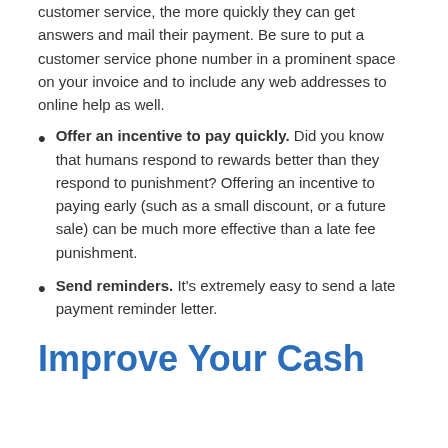customer service, the more quickly they can get answers and mail their payment. Be sure to put a customer service phone number in a prominent space on your invoice and to include any web addresses to online help as well.
Offer an incentive to pay quickly. Did you know that humans respond to rewards better than they respond to punishment? Offering an incentive to paying early (such as a small discount, or a future sale) can be much more effective than a late fee punishment.
Send reminders. It's extremely easy to send a late payment reminder letter.
Improve Your Cash